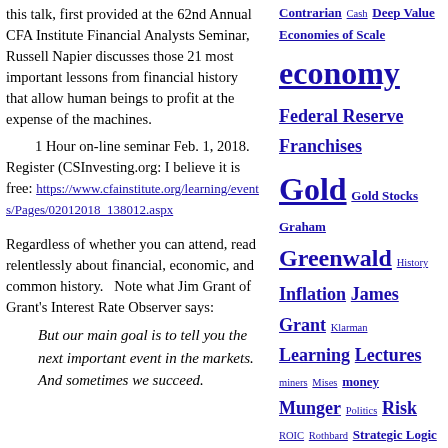this talk, first provided at the 62nd Annual CFA Institute Financial Analysts Seminar, Russell Napier discusses those 21 most important lessons from financial history that allow human beings to profit at the expense of the machines.
1 Hour on-line seminar Feb. 1, 2018. Register (CSInvesting.org: I believe it is free: https://www.cfainstitute.org/learning/events/Pages/02012018_138012.aspx
Regardless of whether you can attend, read relentlessly about financial, economic, and common history.   Note what Jim Grant of Grant's Interest Rate Observer says:
But our main goal is to tell you the next important event in the markets. And sometimes we succeed.
Tag cloud links: Contrarian Cash Deep Value Economies of Scale economy Federal Reserve Franchises Gold Gold Stocks Graham Greenwald History Inflation James Grant Klarman Learning Lectures miners Mises money Munger Politics Risk ROIC Rothbard Strategic Logic Strategy The Fed valuation Value Investing Resources Value Vault Videos WMT